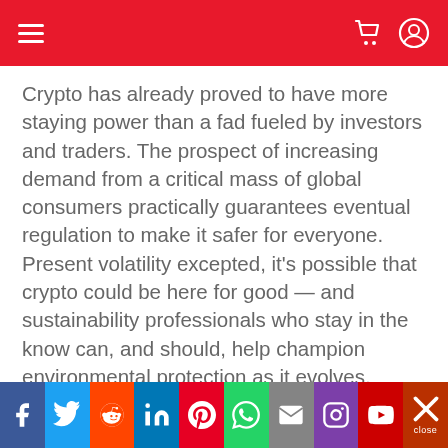Navigation bar with hamburger menu and cart/user icons
Crypto has already proved to have more staying power than a fad fueled by investors and traders. The prospect of increasing demand from a critical mass of global consumers practically guarantees eventual regulation to make it safer for everyone. Present volatility excepted, it’s possible that crypto could be here for good — and sustainability professionals who stay in the know can, and should, help champion environmental protection as it evolves.
Social sharing bar: Facebook, Twitter, Reddit, LinkedIn, Pinterest, WhatsApp, Email, Instagram, YouTube, close